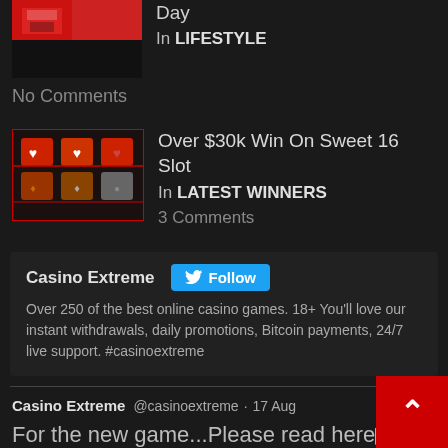Day
In LIFESTYLE
No Comments
[Figure (photo): Slot machine game thumbnail showing Sweet 16 slot symbols on dark background with red border]
Over $30k Win On Sweet 16 Slot
In LATEST WINNERS
3 Comments
Casino Extreme — Follow — Over 250 of the best online casino games. 18+ You'll love our instant withdrawals, daily promotions, Bitcoin payments, 24/7 live support. #casinoextreme
Casino Extreme @casinoextreme · 17 Aug — For the new game...Please read here▶▶ https://casinoextreme.eu/blog/game-reviews/30-fs-on-the-new-